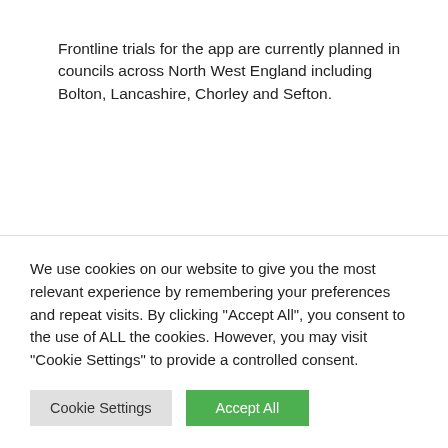Frontline trials for the app are currently planned in councils across North West England including Bolton, Lancashire, Chorley and Sefton.
<blockquote class="twitter-tweet" data-cards="hidden" data-lang="en"><p lang="en" dir="ltr">Great demo of local service finding app from <a href="https://twitter.com/IEG4">@IEG4</a> <a href="https://twitter.com/IanSinge68">@IanSinge68<
We use cookies on our website to give you the most relevant experience by remembering your preferences and repeat visits. By clicking “Accept All”, you consent to the use of ALL the cookies. However, you may visit "Cookie Settings" to provide a controlled consent.